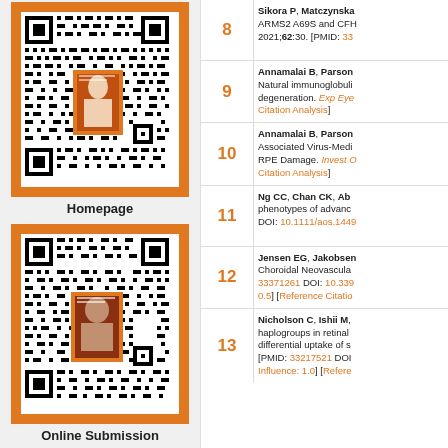[Figure (other): QR code with orange border and book cover with person photo in the center, labeled Homepage]
Homepage
[Figure (other): QR code with orange border and book cover with person photo in the center, labeled Online Submission]
Online Submission
8 Sikora P, Matczynska ... ARMS2 A69S and CFH... 2021;62:30. [PMID: 33...
9 Annamalai B, Parson... Natural immunoglobuli... degeneration. Exp Eye... Citation Analysis]
10 Annamalai B, Parson... Associated Virus-Medi... RPE Damage. Invest O... Citation Analysis]
11 Ng CC, Chan CK, Ab... phenotypes of advance... DOI: 10.1111/aos.1449...
12 Jensen EG, Jakobsen... Choroidal Neovascula... 33371261 DOI: 10.339... 0.5] [Reference Citatio...
13 Nicholson C, Ishii M,... haplogroups in retinal ... differential uptake of s... [PMID: 33217521 DOI... Influence: 1.0] [Refere...